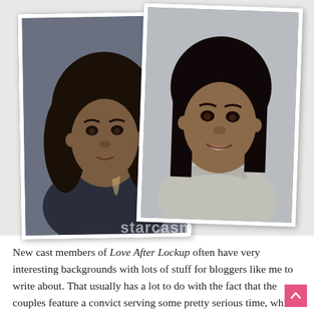[Figure (photo): Two mugshot/prison photos of women side by side. Left photo: woman with long curly hair wearing dark clothing, shown against a gray background (mugshot style). Right photo: woman with straight dark hair, smiling, wearing a light gray top (prison photo style). A watermark reading 'starcasm' appears across the bottom of the images.]
New cast members of Love After Lockup often have very interesting backgrounds with lots of stuff for bloggers like me to write about. That usually has a lot to do with the fact that the couples feature a convict serving some pretty serious time, which of course means at least one major arrest. However,